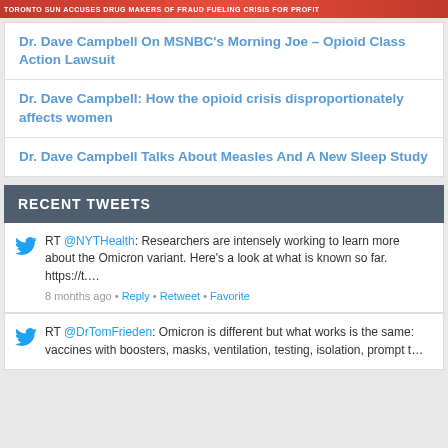[Figure (photo): Red banner with white text about Toronto opioid class action and media coverage]
Dr. Dave Campbell On MSNBC's Morning Joe – Opioid Class Action Lawsuit
Dr. Dave Campbell: How the opioid crisis disproportionately affects women
Dr. Dave Campbell Talks About Measles And A New Sleep Study
RECENT TWEETS
RT @NYTHealth: Researchers are intensely working to learn more about the Omicron variant. Here's a look at what is known so far. https://t....
8 months ago • Reply • Retweet • Favorite
RT @DrTomFrieden: Omicron is different but what works is the same: vaccines with boosters, masks, ventilation, testing, isolation, prompt t...